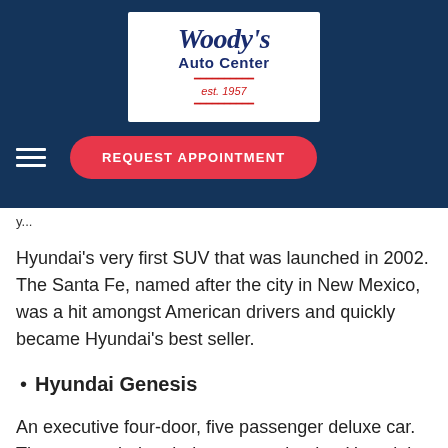[Figure (logo): Woody's Auto Center est. 1957 logo — dark navy background with white logo box containing stylized script 'Woody's' in dark blue italic, 'Auto Center' in dark blue bold, and 'est. 1957' in red italic with red rules]
REQUEST APPOINTMENT button and hamburger menu
Hyundai's very first SUV that was launched in 2002. The Santa Fe, named after the city in New Mexico, was a hit amongst American drivers and quickly became Hyundai's best seller.
Hyundai Genesis
An executive four-door, five passenger deluxe car. The auto ended up being so popular that Hyundai branched